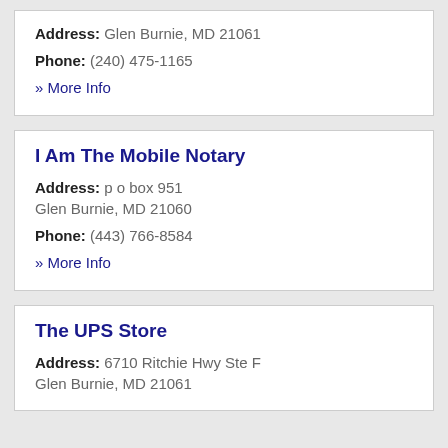Address: Glen Burnie, MD 21061
Phone: (240) 475-1165
» More Info
I Am The Mobile Notary
Address: p o box 951 Glen Burnie, MD 21060
Phone: (443) 766-8584
» More Info
The UPS Store
Address: 6710 Ritchie Hwy Ste F Glen Burnie, MD 21061